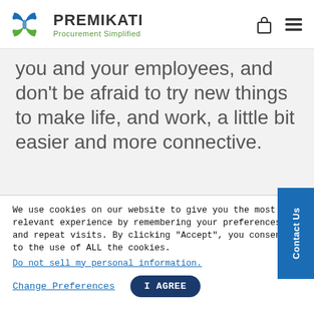[Figure (logo): Premikati logo with two interlocking X shapes in blue and green, text 'PREMIKATI' in dark gray and 'Procurement Simplified' in green]
you and your employees, and don't be afraid to try new things to make life, and work, a little bit easier and more connective.
What has your business done to adjust and thrive during
We use cookies on our website to give you the most relevant experience by remembering your preferences and repeat visits. By clicking "Accept", you consent to the use of ALL the cookies.
Do not sell my personal information.
Change Preferences
I AGREE